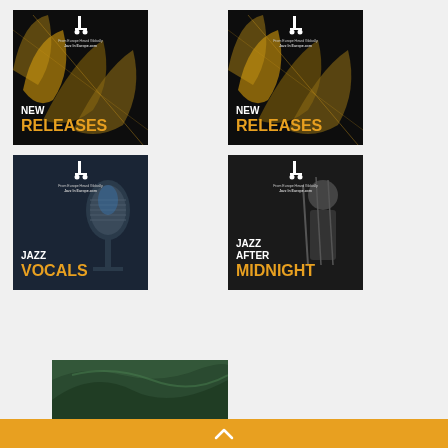[Figure (illustration): Four Jazz in Europe promotional banner images arranged in a 2x2 grid. Top-left: 'NEW RELEASES' banner with dark background and golden guitar silhouettes. Top-right: 'NEW RELEASES' banner identical to top-left. Bottom-left: 'JAZZ VOCALS' banner with dark blue background and microphone. Bottom-right: 'JAZZ AFTER MIDNIGHT' banner with dark background and musician photo.]
[Figure (photo): Partial image at bottom showing dark green curved surfaces, possibly a close-up of a musical instrument or abstract background.]
[Figure (other): Orange/amber horizontal footer strip with white chevron/caret up arrow in center.]